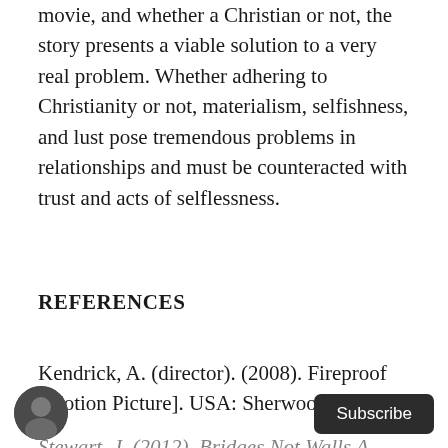movie, and whether a Christian or not, the story presents a viable solution to a very real problem. Whether adhering to Christianity or not, materialism, selfishness, and lust pose tremendous problems in relationships and must be counteracted with trust and acts of selflessness.
REFERENCES
Kendrick, A. (director). (2008). Fireproof [Motion Picture]. USA: Sherwood Pictures
Stewart, J. (2012). Bridges Not Walls A Book About